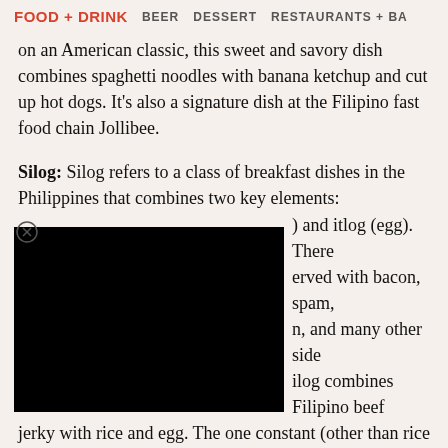FOOD + DRINK   BEER   DESSERT   RESTAURANTS + BA
on an American classic, this sweet and savory dish combines spaghetti noodles with banana ketchup and cut up hot dogs. It's also a signature dish at the Filipino fast food chain Jollibee.
Silog: Silog refers to a class of breakfast dishes in the Philippines that combines two key elements: [obscured] and itlog (egg). There [obscured] erved with bacon, spam, [obscured] n, and many other side [obscured] ilog combines Filipino beef jerky with rice and egg. The one constant (other than rice and a fried egg) is a side of banana ketchup for dipping.